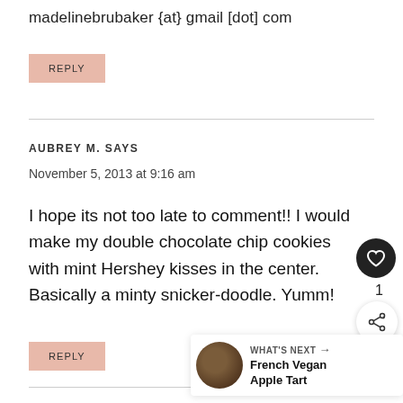madelinebrubaker {at} gmail [dot] com
REPLY
AUBREY M. SAYS
November 5, 2013 at 9:16 am
I hope its not too late to comment!! I would make my double chocolate chip cookies with mint Hershey kisses in the center. Basically a minty snicker-doodle. Yumm!
REPLY
WHAT'S NEXT → French Vegan Apple Tart